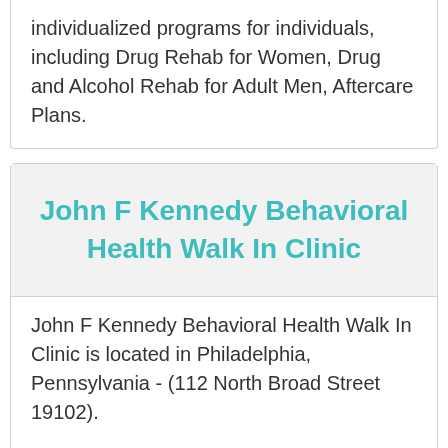individualized programs for individuals, including Drug Rehab for Women, Drug and Alcohol Rehab for Adult Men, Aftercare Plans.
John F Kennedy Behavioral Health Walk In Clinic
John F Kennedy Behavioral Health Walk In Clinic is located in Philadelphia, Pennsylvania - (112 North Broad Street 19102).
John F Kennedy Behavioral Health Walk In Clinic accepts Self Payment or Cash...